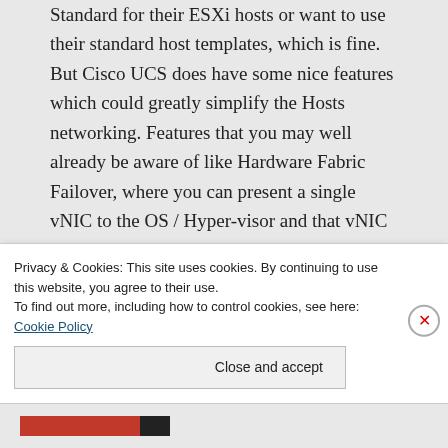Standard for their ESXi hosts or want to use their standard host templates, which is fine. But Cisco UCS does have some nice features which could greatly simplify the Hosts networking. Features that you may well already be aware of like Hardware Fabric Failover, where you can present a single vNIC to the OS / Hyper-visor and that vNIC is backed by Hardware fabric failover, i.e. if there is any break in the traffic path on the primary fabric that the
Privacy & Cookies: This site uses cookies. By continuing to use this website, you agree to their use.
To find out more, including how to control cookies, see here: Cookie Policy
Close and accept